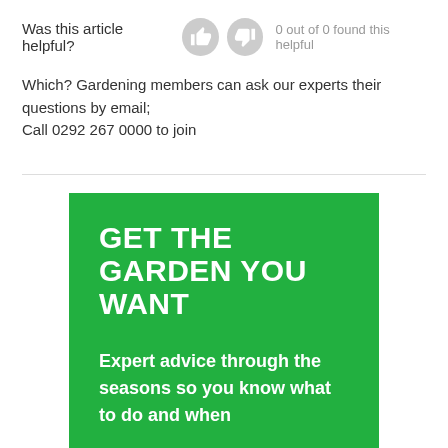Was this article helpful?  0 out of 0 found this helpful
Which? Gardening members can ask our experts their questions by email;
Call 0292 267 0000 to join
[Figure (infographic): Green promotional banner reading GET THE GARDEN YOU WANT with subtitle Expert advice through the seasons so you know what to do and when]